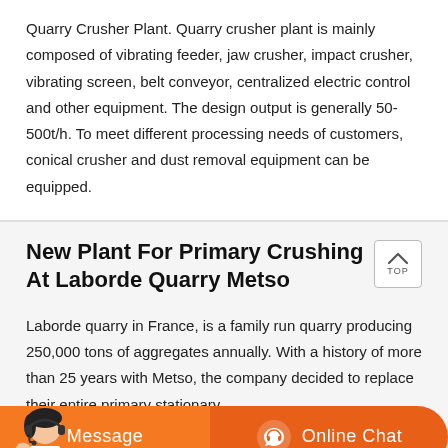Quarry Crusher Plant. Quarry crusher plant is mainly composed of vibrating feeder, jaw crusher, impact crusher, vibrating screen, belt conveyor, centralized electric control and other equipment. The design output is generally 50-500t/h. To meet different processing needs of customers, conical crusher and dust removal equipment can be equipped.
New Plant For Primary Crushing At Laborde Quarry Metso
Laborde quarry in France, is a family run quarry producing 250,000 tons of aggregates annually. With a history of more than 25 years with Metso, the company decided to replace their entire primary stationary
[Figure (illustration): Customer service representative avatar and bottom navigation bar with Message and Online Chat buttons on orange background]